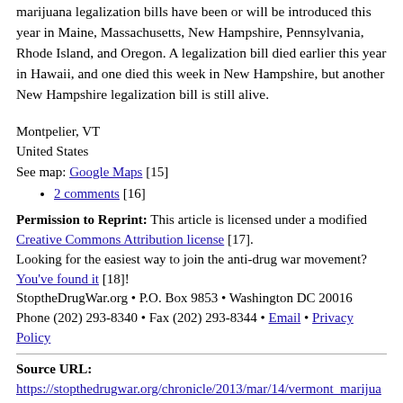marijuana legalization bills have been or will be introduced this year in Maine, Massachusetts, New Hampshire, Pennsylvania, Rhode Island, and Oregon. A legalization bill died earlier this year in Hawaii, and one died this week in New Hampshire, but another New Hampshire legalization bill is still alive.
Montpelier, VT
United States
See map: Google Maps [15]
2 comments [16]
Permission to Reprint: This article is licensed under a modified Creative Commons Attribution license [17]. Looking for the easiest way to join the anti-drug war movement? You've found it [18]! StoptheDrugWar.org • P.O. Box 9853 • Washington DC 20016 Phone (202) 293-8340 • Fax (202) 293-8344 • Email • Privacy Policy
Source URL:
https://stopthedrugwar.org/chronicle/2013/mar/14/vermont_marijua